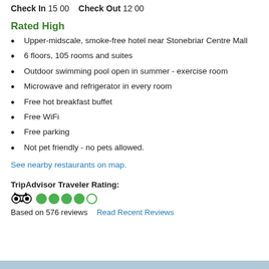Check In 15 00   Check Out 12 00
Rated High
Upper-midscale, smoke-free hotel near Stonebriar Centre Mall
6 floors, 105 rooms and suites
Outdoor swimming pool open in summer - exercise room
Microwave and refrigerator in every room
Free hot breakfast buffet
Free WiFi
Free parking
Not pet friendly - no pets allowed.
See nearby restaurants on map.
TripAdvisor Traveler Rating:
Based on 576 reviews   Read Recent Reviews